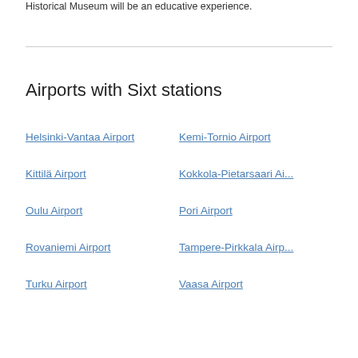Historical Museum will be an educative experience.
Airports with Sixt stations
Helsinki-Vantaa Airport
Kemi-Tornio Airport
Kittilä Airport
Kokkola-Pietarsaari Ai...
Oulu Airport
Pori Airport
Rovaniemi Airport
Tampere-Pirkkala Airp...
Turku Airport
Vaasa Airport